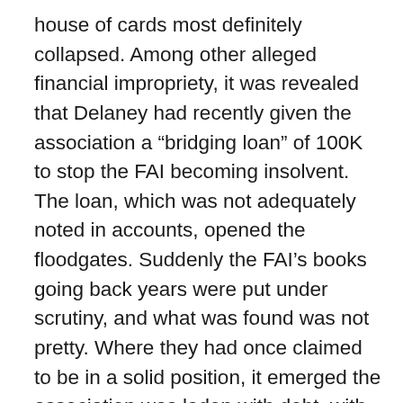house of cards most definitely collapsed. Among other alleged financial impropriety, it was revealed that Delaney had recently given the association a “bridging loan” of 100K to stop the FAI becoming insolvent. The loan, which was not adequately noted in accounts, opened the floodgates. Suddenly the FAI’s books going back years were put under scrutiny, and what was found was not pretty. Where they had once claimed to be in a solid position, it emerged the association was laden with debt, with numerous dodgy elements to the whole affair, such as payments to Delaney’s ex-girlfriend for supposed “professional services” (that she claims to have no knowledge of; Delaney is currently suing her for libel), numerous purchases on company credit cards that were not properly recorded, FAI money used to pay for a lavish birthday party for its CEO, treasurer’s who seemed to